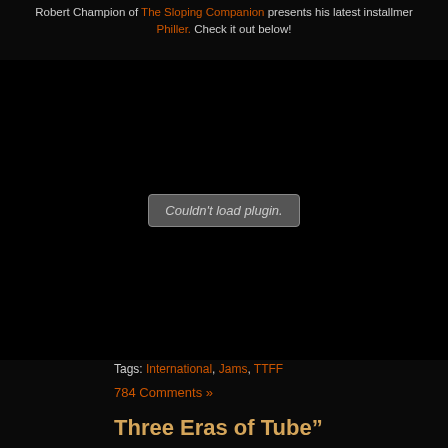Robert Champion of The Sloping Companion presents his latest installment... Philler. Check it out below!
[Figure (screenshot): Black area with 'Couldn't load plugin.' message in gray rounded rectangle, representing a failed embedded media plugin]
Tags: International, Jams, TTFF
784 Comments »
Three Eras of Tube"
Posted in Uncategorized with the tags Jams, Songs on February 9th, 2012 by Mr.Mi...
[Figure (photo): Concert photo with purple and green stage lighting]